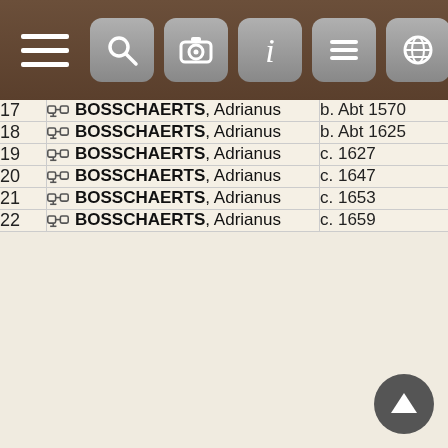[Figure (screenshot): Mobile app navigation bar with hamburger menu on left and five icon buttons (search, camera, info, unknown, globe) on right, brown background]
| # | Name | Date |
| --- | --- | --- |
| 17 | BOSSCHAERTS, Adrianus | b. Abt 1570 |
| 18 | BOSSCHAERTS, Adrianus | b. Abt 1625 |
| 19 | BOSSCHAERTS, Adrianus | c. 1627 |
| 20 | BOSSCHAERTS, Adrianus | c. 1647 |
| 21 | BOSSCHAERTS, Adrianus | c. 1653 |
| 22 | BOSSCHAERTS, Adrianus | c. 1659 |